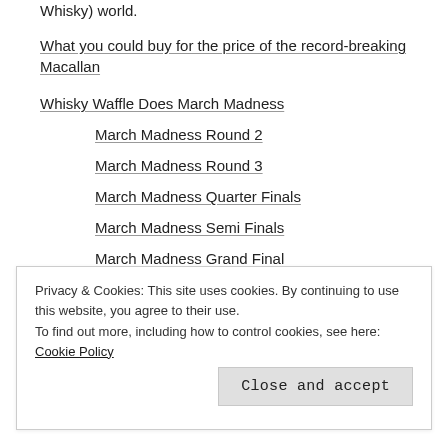Whisky) world.
What you could buy for the price of the record-breaking Macallan
Whisky Waffle Does March Madness
March Madness Round 2
March Madness Round 3
March Madness Quarter Finals
March Madness Semi Finals
March Madness Grand Final
The Ultimate Top Three Introductory Whiskies
Privacy & Cookies: This site uses cookies. By continuing to use this website, you agree to their use.
To find out more, including how to control cookies, see here: Cookie Policy
Close and accept